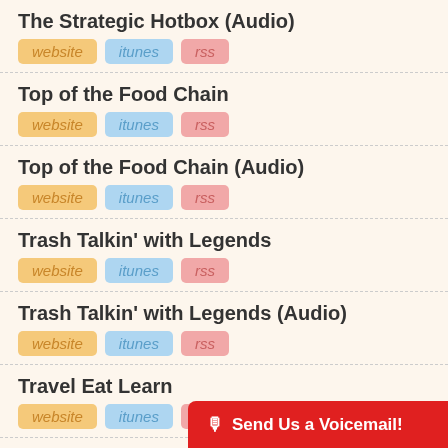The Strategic Hotbox (Audio) — website, itunes, rss
Top of the Food Chain — website, itunes, rss
Top of the Food Chain (Audio) — website, itunes, rss
Trash Talkin' with Legends — website, itunes, rss
Trash Talkin' with Legends (Audio) — website, itunes, rss
Travel Eat Learn — website, itunes, rss
Travel Eat Learn (Audio) — website, itunes, rss
Send Us a Voicemail!